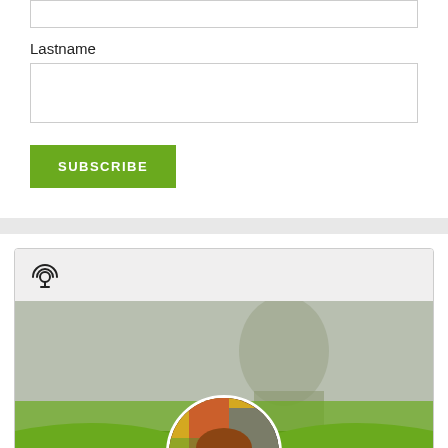Lastname
[Figure (screenshot): A web form section showing a 'Lastname' label with an input text box below it, followed by a green 'SUBSCRIBE' button. Below is a podcast widget card with a podcast broadcast icon at the top, a background photo of a person's face, a green wave shape, and a circular avatar photo of a bearded man with long hair wearing a black shirt. A green scroll-to-top button is visible at the bottom right.]